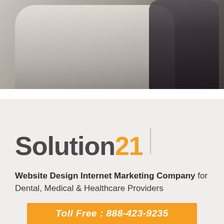[Figure (photo): Two people in a consultation or office setting. Left person in white shirt seated, right person in dark clothing standing. Slightly cropped with top portion visible.]
[Figure (logo): Solution21 logo with 'Solution' in dark gray and '21' in orange, followed by a vertical gray divider line.]
Website Design Internet Marketing Company for Dental, Medical & Healthcare Providers
Toll Free : 888-423-9235